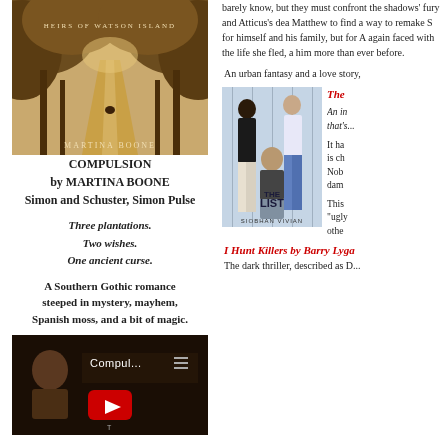[Figure (photo): Book cover of COMPULSION by Martina Boone, Heirs of Watson Island series, showing a tree-lined path]
COMPULSION
by MARTINA BOONE
Simon and Schuster, Simon Pulse
Three plantations.
Two wishes.
One ancient curse.
A Southern Gothic romance steeped in mystery, mayhem, Spanish moss, and a bit of magic.
[Figure (screenshot): YouTube video thumbnail for Compul... by Martina Boone with red play button]
barely know, but they must confront the shadows' fury and Atticus's dea... Matthew to find a way to remake S... for himself and his family, but for A... again faced with the life she fled, a... him more than ever before.
An urban fantasy and a love story,
The
[Figure (photo): Book cover of THE LIST by Siobhan Vivian, showing teenagers standing near lockers]
An in... that's...
It ha... is ch... Nob... dam...
This ... "ugly... othe...
I Hunt Killers by Barry Lyga
The dark thriller, described as D...